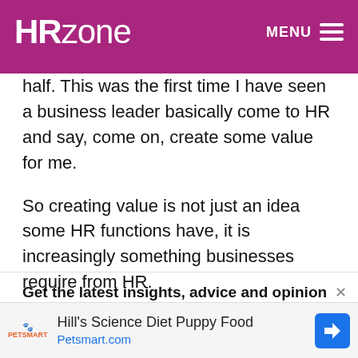HRZone   MENU
half. This was the first time I have seen a business leader basically come to HR and say, come on, create some value for me.
So creating value is not just an idea some HR functions have, it is increasingly something businesses require from HR.
Get the latest insights, advice and opinion on the world of work from HRZone.
[Figure (other): Advertisement banner for Hill's Science Diet Puppy Food at Petsmart.com, featuring PetSmart logo and a blue navigation arrow icon.]